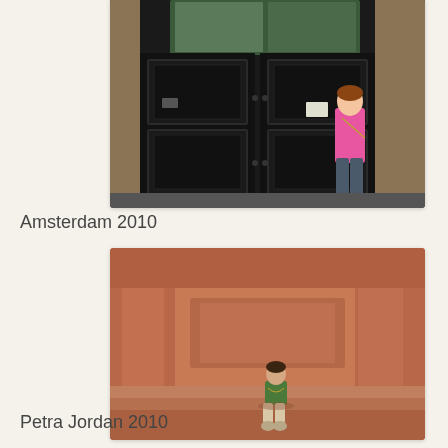[Figure (photo): A girl in a pink shirt standing in front of large black double doors in Amsterdam]
Amsterdam 2010
[Figure (photo): A child sitting on a ledge at the ancient red sandstone ruins of Petra, Jordan]
Petra Jordan 2010